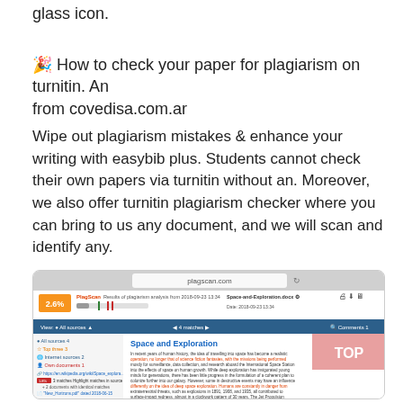glass icon.
🎉 How to check your paper for plagiarism on turnitin. An from covedisa.com.ar
Wipe out plagiarism mistakes & enhance your writing with easybib plus. Students cannot check their own papers via turnitin without an. Moreover, we also offer turnitin plagiarism checker where you can bring to us any document, and we will scan and identify any.
[Figure (screenshot): Screenshot of PlagScan plagiarism checker showing 2.6% plagiarism result for 'Space-and-Exploration.docx' with document content visible]